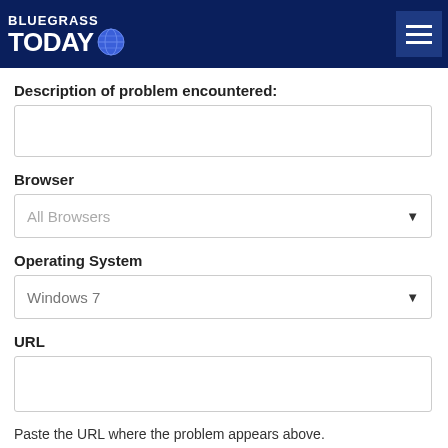[Figure (logo): Bluegrass Today logo with globe icon on dark navy header bar with hamburger menu button]
Description of problem encountered:
[Figure (other): Empty text input box for description of problem encountered]
Browser
[Figure (other): Dropdown select box showing 'All Browsers']
Operating System
[Figure (other): Dropdown select box showing 'Windows 7']
URL
[Figure (other): Empty text input box for URL]
Paste the URL where the problem appears above.